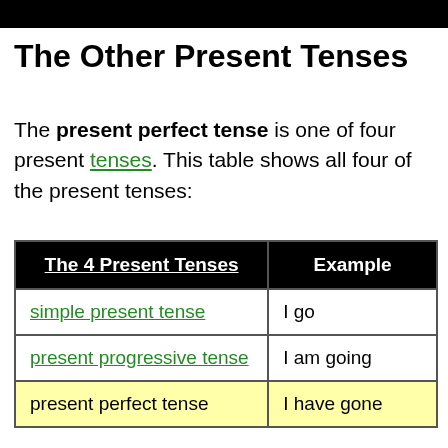The Other Present Tenses
The present perfect tense is one of four present tenses. This table shows all four of the present tenses:
| The 4 Present Tenses | Example |
| --- | --- |
| simple present tense | I go |
| present progressive tense | I am going |
| present perfect tense | I have gone |